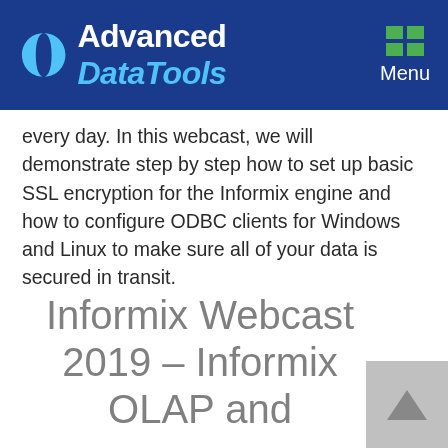Advanced DataTools — Menu
every day. In this webcast, we will demonstrate step by step how to set up basic SSL encryption for the Informix engine and how to configure ODBC clients for Windows and Linux to make sure all of your data is secured in transit.
Informix Webcast 2019 – Informix OLAP and